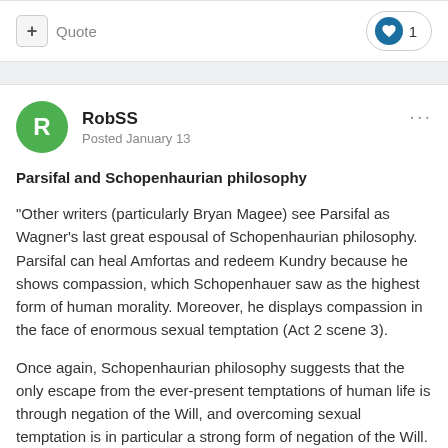+ Quote  ♥ 1
RobSS
Posted January 13
Parsifal and Schopenhaurian philosophy
"Other writers (particularly Bryan Magee) see Parsifal as Wagner's last great espousal of Schopenhaurian philosophy. Parsifal can heal Amfortas and redeem Kundry because he shows compassion, which Schopenhauer saw as the highest form of human morality. Moreover, he displays compassion in the face of enormous sexual temptation (Act 2 scene 3).
Once again, Schopenhaurian philosophy suggests that the only escape from the ever-present temptations of human life is through negation of the Will, and overcoming sexual temptation is in particular a strong form of negation of the Will. When viewed in